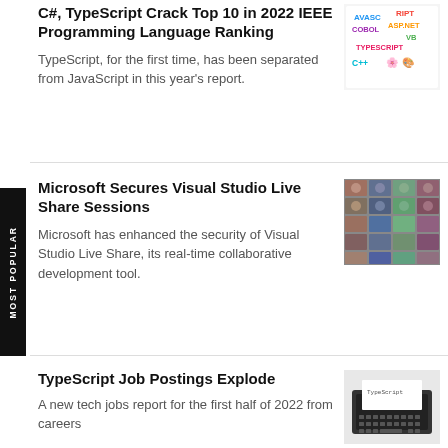C#, TypeScript Crack Top 10 in 2022 IEEE Programming Language Ranking
TypeScript, for the first time, has been separated from JavaScript in this year's report.
[Figure (illustration): Colorful magnetic alphabet letters spelling programming language names: JAVASCRIPT, COBOL, ASP.NET, VB, TYPESCRIPT, C++]
Microsoft Secures Visual Studio Live Share Sessions
Microsoft has enhanced the security of Visual Studio Live Share, its real-time collaborative development tool.
[Figure (photo): Grid of many people's faces in a video conference screenshot]
TypeScript Job Postings Explode
A new tech jobs report for the first half of 2022 from careers
[Figure (photo): Vintage typewriter with a paper labeled TypeScript]